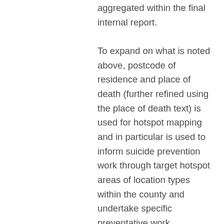aggregated within the final internal report.
To expand on what is noted above, postcode of residence and place of death (further refined using the place of death text) is used for hotspot mapping and in particular is used to inform suicide prevention work through target hotspot areas of location types within the county and undertake specific preventative work. Pseudonymised data would be insufficient as lower super output areas or partial postcode) cover too large an area to identify exact locations and features or calculate distance from home, especially in more dispersed rural areas, where locations may be many miles apart. This granularity of data is required since the local authorities are where appropriate taking specific locally based action rather than just authority wide activity. The suicide audit process